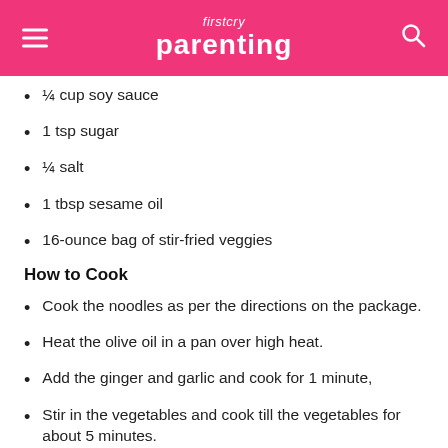firstcry parenting
¼ cup soy sauce
1 tsp sugar
¼ salt
1 tbsp sesame oil
16-ounce bag of stir-fried veggies
How to Cook
Cook the noodles as per the directions on the package.
Heat the olive oil in a pan over high heat.
Add the ginger and garlic and cook for 1 minute,
Stir in the vegetables and cook till the vegetables for about 5 minutes.